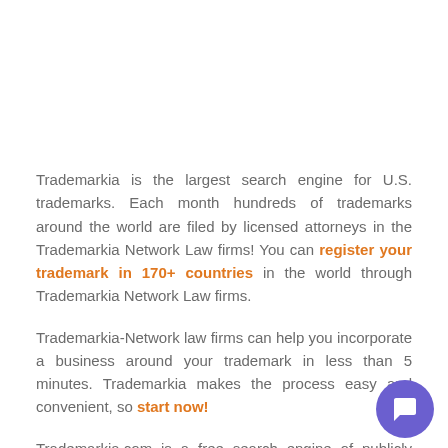Trademarkia is the largest search engine for U.S. trademarks. Each month hundreds of trademarks around the world are filed by licensed attorneys in the Trademarkia Network Law firms! You can register your trademark in 170+ countries in the world through Trademarkia Network Law firms.
Trademarkia-Network law firms can help you incorporate a business around your trademark in less than 5 minutes. Trademarkia makes the process easy and convenient, so start now!
Trademarkia.com is a free search engine of publicly available government records. Trademarkia.com is not a law firm and does not represent owners & correspondents listed on this